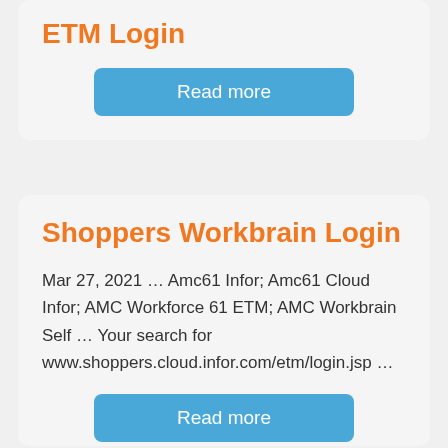ETM Login
Read more
Shoppers Workbrain Login
Mar 27, 2021 … Amc61 Infor; Amc61 Cloud Infor; AMC Workforce 61 ETM; AMC Workbrain Self … Your search for www.shoppers.cloud.infor.com/etm/login.jsp …
Read more